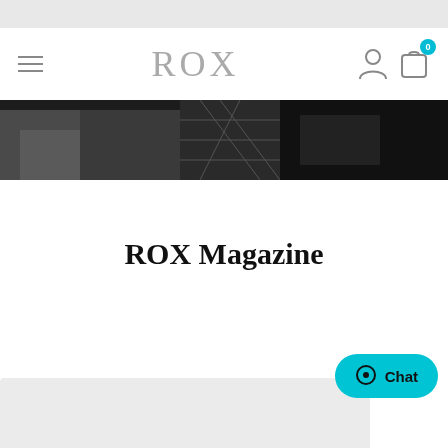ROX
[Figure (photo): Black and white hero image showing furniture and interior elements]
ROX Magazine
[Figure (screenshot): Chat button widget with speech bubble icon and 'Chat' label in teal/cyan color]
[Figure (photo): Bottom gray card partial view]